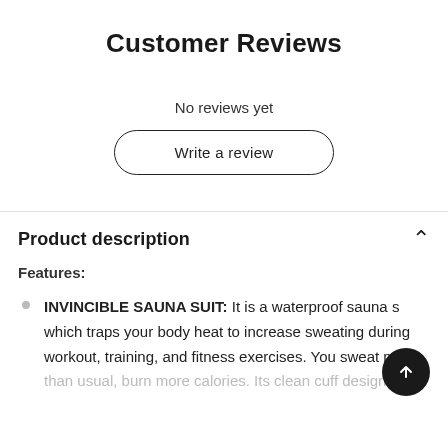Customer Reviews
No reviews yet
Write a review
Product description
Features:
INVINCIBLE SAUNA SUIT: It is a waterproof sauna s... which traps your body heat to increase sweating during workout, training, and fitness exercises. You sweat more than usual, burn more calories. Its clean cuff design is